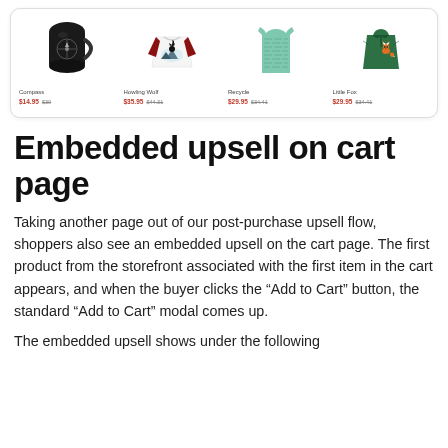[Figure (screenshot): A product carousel showing four items: Compass mug ($14.95 $30), Howling Wolf baseball shirt ($35.95 $44.31), Recycle tank top ($29.95 $34.41), Little Fox polo shirt ($29.95 $34.41), each with product image, name, sale price, and original price.]
Embedded upsell on cart page
Taking another page out of our post-purchase upsell flow, shoppers also see an embedded upsell on the cart page. The first product from the storefront associated with the first item in the cart appears, and when the buyer clicks the “Add to Cart” button, the standard “Add to Cart” modal comes up.
The embedded upsell shows under the following